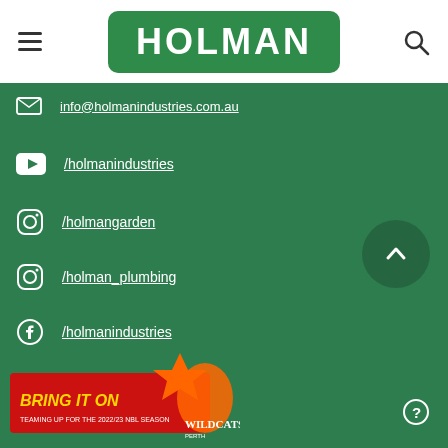[Figure (logo): Holman Industries logo — white text HOLMAN on green rounded rectangle background]
info@holmanindustries.com.au
/holmanindustries (YouTube)
/holmangarden (Instagram)
/holman_plumbing (Instagram)
/holmanindustries (Facebook)
[Figure (logo): Perth Wildcats 'Bring It On – Teaming up for the 2022/23 NBL Season' sponsor banner with wildcat mascot]
[Figure (other): Scroll to top button – dark green circle with white upward chevron]